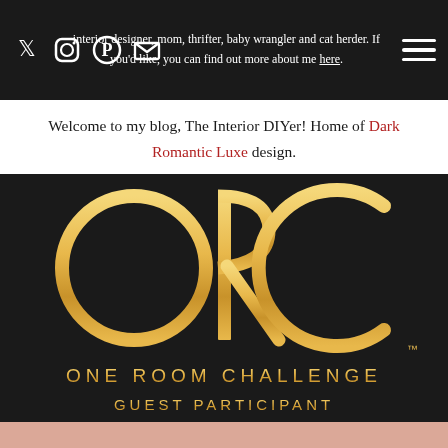interior designer, mom, thrifter, baby wrangler and cat herder. If you'd like, you can find out more about me here.
Welcome to my blog, The Interior DIYer! Home of Dark Romantic Luxe design.
[Figure (logo): ORC One Room Challenge Guest Participant logo — gold metallic letters ORC with circular O, stylized R with descending vertical stroke, and C — text below reads ONE ROOM CHALLENGE / GUEST PARTICIPANT on dark background]
[Figure (other): Pink/salmon colored bottom bar strip]